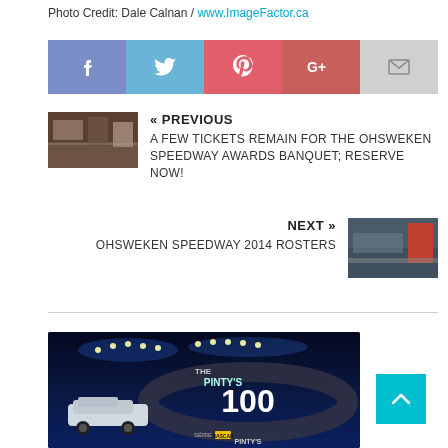Photo Credit: Dale Calnan / www.ImageFactor.ca
[Figure (other): Social share buttons: Facebook, Twitter, Pinterest, Google+, Email]
« PREVIOUS
A FEW TICKETS REMAIN FOR THE OHSWEKEN SPEEDWAY AWARDS BANQUET; RESERVE NOW!
NEXT »
OHSWEKEN SPEEDWAY 2014 ROSTERS
[Figure (photo): The Pinty's 100 NASCAR race promotional image showing a race car on track at night with stadium lights, text: THE PINTY'S 100, SÉRIE NASCAR PINTY'S]